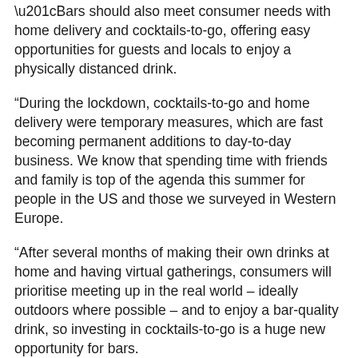“Bars should also meet consumer needs with home delivery and cocktails-to-go, offering easy opportunities for guests and locals to enjoy a physically distanced drink.
“During the lockdown, cocktails-to-go and home delivery were temporary measures, which are fast becoming permanent additions to day-to-day business. We know that spending time with friends and family is top of the agenda this summer for people in the US and those we surveyed in Western Europe.
“After several months of making their own drinks at home and having virtual gatherings, consumers will prioritise meeting up in the real world – ideally outdoors where possible – and to enjoy a bar-quality drink, so investing in cocktails-to-go is a huge new opportunity for bars.
“From slushie machines for frozen Bacardí Piña Coladas and Patrón frozen Margaritas for the hotter weather, to serving cocktails in 100% recyclable pouches, and bars